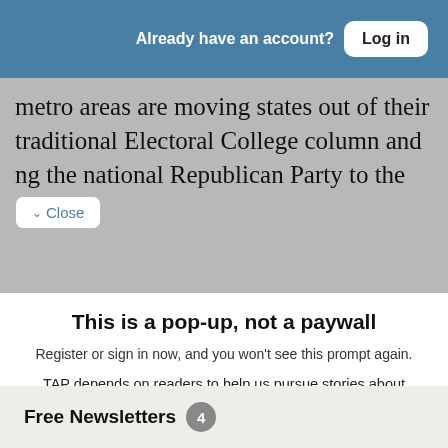Already have an account? Log in
metro areas are moving states out of their traditional Electoral College column and ng the national Republican Party to the
✓ Close
This is a pop-up, not a paywall
Register or sign in now, and you won't see this prompt again.
TAP depends on readers to help us pursue stories about IDEAS, POLITICS and POWER. If you have the ability to support independent journalism, your tax-deductible contribution will help keep this site free
Free Newsletters 4